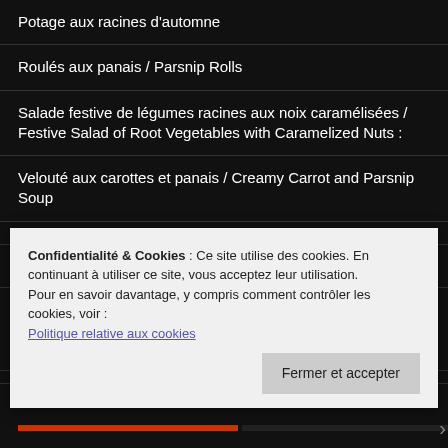Potage aux racines d'automne
Roulés aux panais / Parsnip Rolls
Salade festive de légumes racines aux noix caramélisées / Festive Salad of Root Vegetables with Caramelized Nuts :
Velouté aux carottes et panais / Creamy Carrot and Parsnip Soup
PÂTISSON
Cellentani aux courgettes et pâtisson / Cellentani with pattypan s
Confidentialité & Cookies : Ce site utilise des cookies. En continuant à utiliser ce site, vous acceptez leur utilisation.
Pour en savoir davantage, y compris comment contrôler les cookies, voir :
Politique relative aux cookies
Fermer et accepter